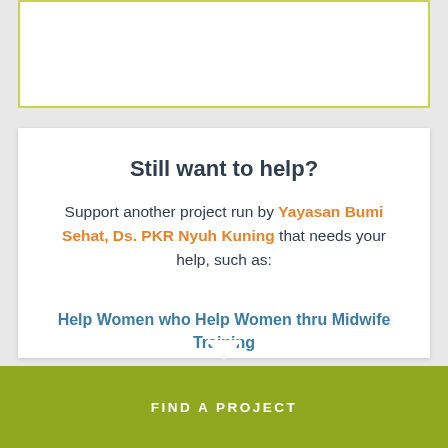Still want to help?
Support another project run by Yayasan Bumi Sehat, Ds. PKR Nyuh Kuning that needs your help, such as:
Help Women who Help Women thru Midwife Training
FIND A PROJECT